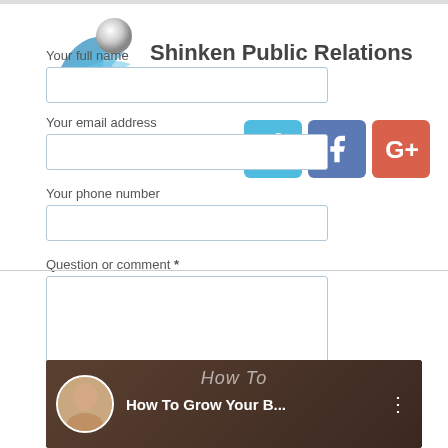[Figure (logo): Shinken Public Relations logo with blue wave/swoosh graphic and sphere, alongside brand name text]
Your full name
Your email address
Your phone number
Question or comment *
[Figure (infographic): Social media icons: Twitter (blue bird), Facebook (blue f), Google+ (red G+)]
[Figure (screenshot): Video thumbnail showing a woman with text 'How To Grow Your B...' and menu dots icon, dark background with 'How To' overlay text]